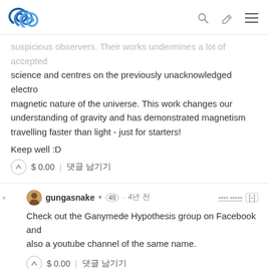Steem logo with search, edit, and menu icons
suspicious observers. Their works undermines a lot of accepted science and centres on the previously unacknowledged electro magnetic nature of the universe. This work changes our understanding of gravity and has demonstrated magnetism travelling faster than light - just for starters!
Keep well :D
$ 0.00 | 댓글 남기기
gungasnake ▾ 49 · 4년 전
Check out the Ganymede Hypothesis group on Facebook and also a youtube channel of the same name.
$ 0.00 | 댓글 남기기
lemouth ▾ 72 · 4년 전
However, data does not exclude dark matter. Therefore, dark matter is not excluded, no matter you (or I) like it or not.
We do not live in a gravity-only universe. In real life, gravity is